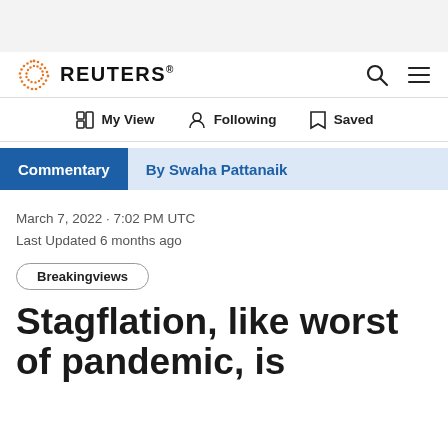REUTERS
My View   Following   Saved
Commentary   By Swaha Pattanaik
March 7, 2022 · 7:02 PM UTC
Last Updated 6 months ago
Breakingviews
Stagflation, like worst of pandemic, is